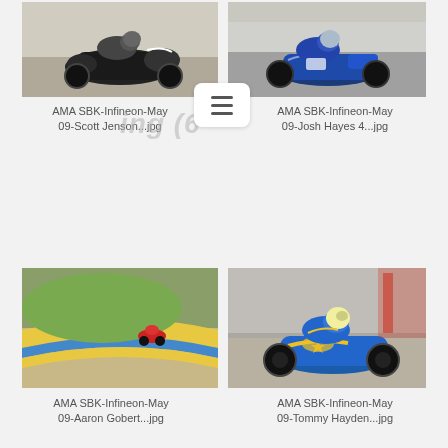[Figure (photo): Motorcycle racer on a dark sport bike on a race track, AMA SBK Infineon May 09, Scott Jenson]
AMA SBK-Infineon-May 09-Scott Jenson...jpg
[Figure (photo): Motorcycle racer on a blue sport bike on a race track, AMA SBK Infineon May 09, Josh Hayes]
AMA SBK-Infineon-May 09-Josh Hayes 4...jpg
[Figure (photo): Aerial view of a motorcycle racer on a race track with yellow and blue curbing, AMA SBK Infineon May 09, Aaron Gobert]
AMA SBK-Infineon-May 09-Aaron Gobert...jpg
[Figure (photo): Close-up of motorcycle racer on a blue and yellow sport bike, AMA SBK Infineon May 09, Tommy Hayden]
AMA SBK-Infineon-May 09-Tommy Hayden...jpg